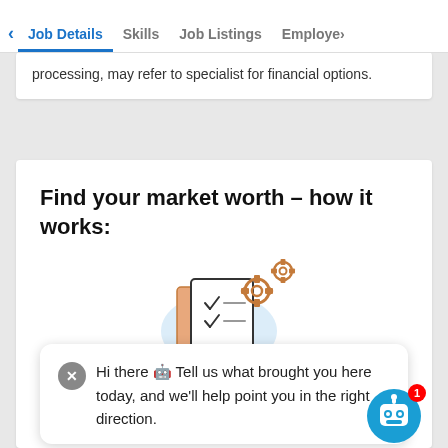< Job Details   Skills   Job Listings   Employe>
processing, may refer to specialist for financial options.
Find your market worth – how it works:
[Figure (illustration): Icon of two stacked documents with checkmarks and gear/settings icons beside them, on a light blue rounded background]
Tell us about your job and pay factors like skills and education
Hi there 🤖 Tell us what brought you here today, and we'll help point you in the right direction.